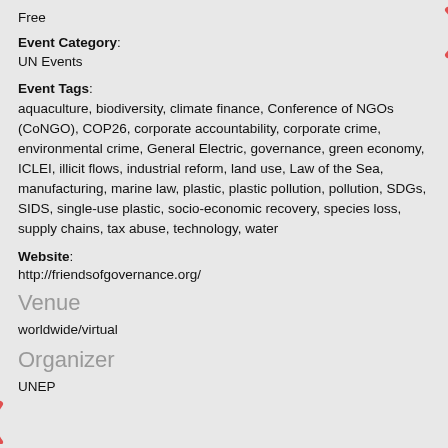Free
Event Category:
UN Events
Event Tags:
aquaculture, biodiversity, climate finance, Conference of NGOs (CoNGO), COP26, corporate accountability, corporate crime, environmental crime, General Electric, governance, green economy, ICLEI, illicit flows, industrial reform, land use, Law of the Sea, manufacturing, marine law, plastic, plastic pollution, pollution, SDGs, SIDS, single-use plastic, socio-economic recovery, species loss, supply chains, tax abuse, technology, water
Website:
http://friendsofgovernance.org/
Venue
worldwide/virtual
Organizer
UNEP